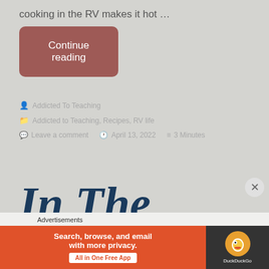cooking in the RV makes it hot …
Continue reading
Addicted To Teaching
Addicted to Teaching, Recipes, RV life
Leave a comment  April 13, 2022  3 Minutes
In The
Advertisements
[Figure (screenshot): DuckDuckGo advertisement banner: Search, browse, and email with more privacy. All in One Free App]